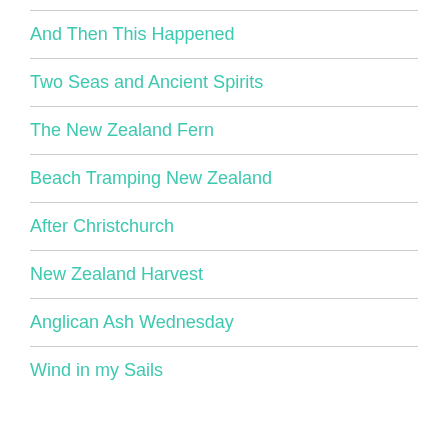And Then This Happened
Two Seas and Ancient Spirits
The New Zealand Fern
Beach Tramping New Zealand
After Christchurch
New Zealand Harvest
Anglican Ash Wednesday
Wind in my Sails